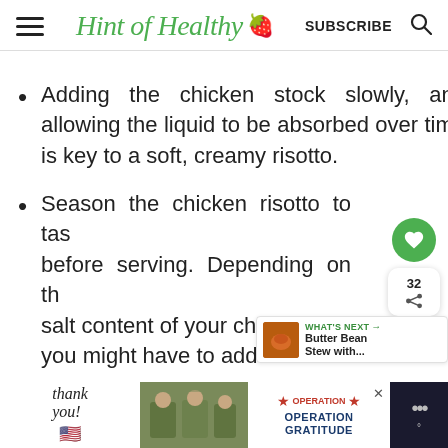Hint of Healthy 🍓  SUBSCRIBE 🔍
Adding the chicken stock slowly, and allowing the liquid to be absorbed over time is key to a soft, creamy risotto.
Season the chicken risotto to taste before serving. Depending on the salt content of your chicken, you might have to add a little
[Figure (screenshot): Ad banner at bottom: 'Thank you' cursive with US flag, soldiers photo, Operation Gratitude logo]
[Figure (infographic): Floating UI: heart save button (green circle), share count (32), share icon, and What's Next card showing Butter Bean Stew]